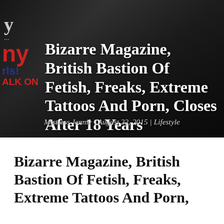[Figure (photo): Hero image of a magazine cover featuring a person in black latex/leather outfit, with overlaid article title text in white and author/date metadata. The magazine cover shows partial text including 'ny', '...', 'rls!', 'ALK ON' in red and blue lettering on the left side.]
Bizarre Magazine, British Bastion Of Fetish, Freaks, Extreme Tattoos And Porn, Closes After 18 Years
Mistress Jennie | August 22, 2015 | Lifestyle
Bizarre Magazine, British Bastion Of Fetish, Freaks, Extreme Tattoos And Porn,